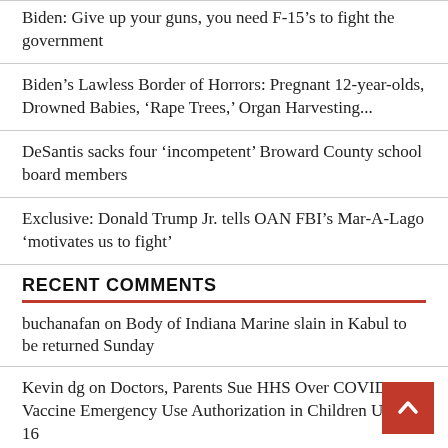Biden: Give up your guns, you need F-15’s to fight the government
Biden’s Lawless Border of Horrors: Pregnant 12-year-olds, Drowned Babies, ‘Rape Trees,’ Organ Harvesting...
DeSantis sacks four ‘incompetent’ Broward County school board members
Exclusive: Donald Trump Jr. tells OAN FBI’s Mar-A-Lago ‘motivates us to fight’
RECENT COMMENTS
buchanafan on Body of Indiana Marine slain in Kabul to be returned Sunday
Kevin dg on Doctors, Parents Sue HHS Over COVID-19 Vaccine Emergency Use Authorization in Children Under 16
Ryan Davis Thomason on Leroy Petry says someone stole his Medal of Honor display case...